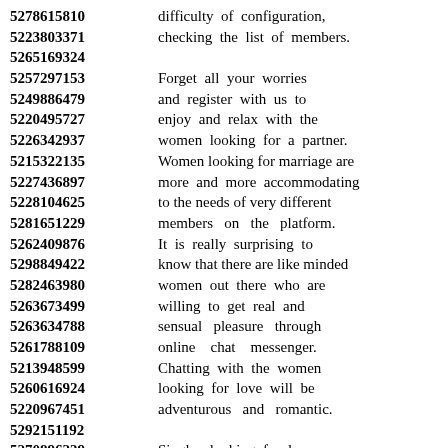5278615810 difficulty of configuration,
5223803371 checking the list of members.
5265169324
5257297153 Forget all your worries
5249886479 and register with us to
5220495727 enjoy and relax with the
5226342937 women looking for a partner.
5215322135 Women looking for marriage are
5227436897 more and more accommodating
5228104625 to the needs of very different
5281651229 members on the platform.
5262409876 It is really surprising to
5298849422 know that there are like minded
5282463980 women out there who are
5263673499 willing to get real and
5263634788 sensual pleasure through
5261788109 online chat messenger.
5213948599 Chatting with the women
5260616924 looking for love will be
5220967451 adventurous and romantic.
5292151192
5270896239 Singles looking for love
5257285399 have different needs and different
5236588210 requirement such as the
5218480967 specific relationships and